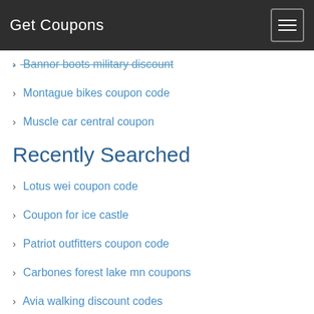Get Coupons
Bannor boots military discount
Montague bikes coupon code
Muscle car central coupon
Recently Searched
Lotus wei coupon code
Coupon for ice castle
Patriot outfitters coupon code
Carbones forest lake mn coupons
Avia walking discount codes
Wild birds unlimited wild bird store coupons
Perkspot walgreens employee discounts
Unnas annas discount code
Salomon military discount code